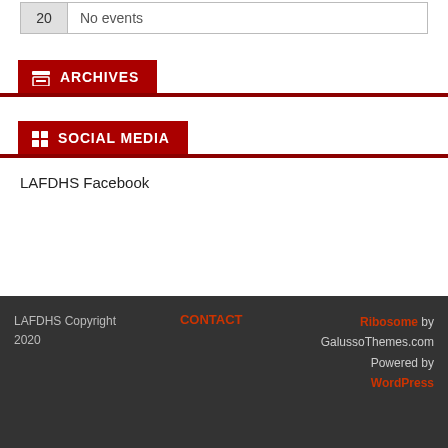| Day | Event |
| --- | --- |
| 20 | No events |
ARCHIVES
SOCIAL MEDIA
LAFDHS Facebook
LAFDHS Copyright 2020   CONTACT   Ribosome by GalussoThemes.com Powered by WordPress